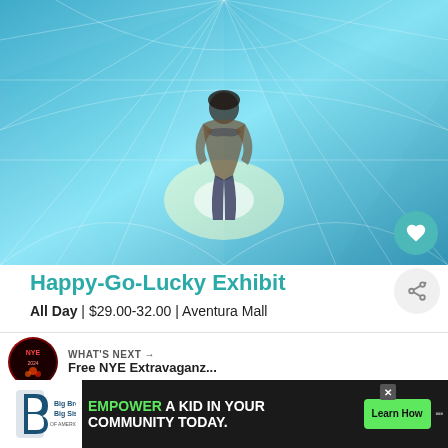[Figure (photo): Person sitting inside a mirrored kaleidoscopic crystal-like installation with blue and white reflective surfaces, taken at Happy-Go-Lucky Exhibit]
Happy-Go-Lucky Exhibit
All Day | $29.00-32.00 | Aventura Mall
[Figure (photo): WHAT'S NEXT thumbnail showing NYE event with red and dark background]
WHAT'S NEXT → Free NYE Extravaganz...
Jewish Museum of Florida-FIU free every Saturday
[Figure (infographic): Advertisement banner: Big Brothers Big Sisters logo on left, green text 'EMPOWER A KID IN YOUR COMMUNITY TODAY.' with green 'Learn How' button, and dots icon on right]